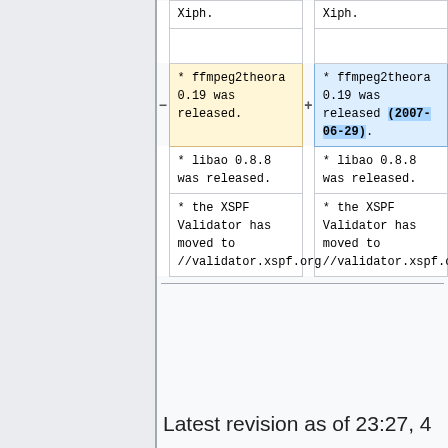| Old | New |
| --- | --- |
| * Xiph. | * Xiph. |
|  |  |
| * ffmpeg2theora 0.19 was released. | * ffmpeg2theora 0.19 was released (2007-06-29). |
| * libao 0.8.8 was released. | * libao 0.8.8 was released. |
| * the XSPF Validator has moved to //validator.xspf.org | * the XSPF Validator has moved to //validator.xspf.org |
Latest revision as of 23:27, 4